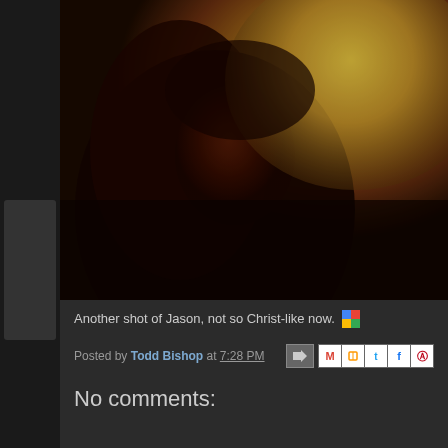[Figure (photo): Dark, blurry photograph of a person (Jason) with long dark hair, face partially obscured in shadow against a warm golden/yellow background light. Low-light, orange-red toned image.]
Another shot of Jason, not so Christ-like now.
Posted by Todd Bishop at 7:28 PM
No comments: